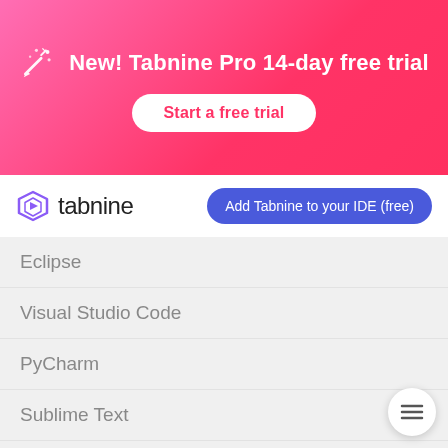[Figure (infographic): Pink-to-red gradient promotional banner with party popper icon and headline 'New! Tabnine Pro 14-day free trial' and a 'Start a free trial' button]
[Figure (logo): Tabnine logo: purple hexagonal play-button icon next to the word 'tabnine' in dark text]
Add Tabnine to your IDE (free)
Eclipse
Visual Studio Code
PyCharm
Sublime Text
PhpStorm
Vim